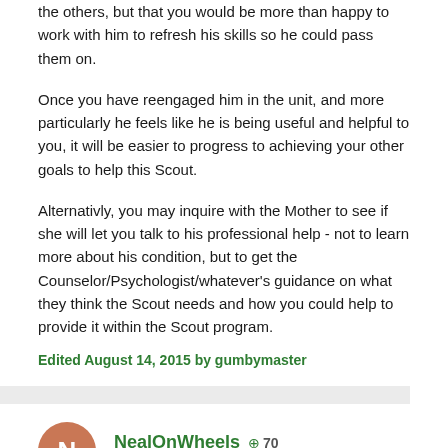the others, but that you would be more than happy to work with him to refresh his skills so he could pass them on.
Once you have reengaged him in the unit, and more particularly he feels like he is being useful and helpful to you, it will be easier to progress to achieving your other goals to help this Scout.
Alternativly, you may inquire with the Mother to see if she will let you talk to his professional help - not to learn more about his condition, but to get the Counselor/Psychologist/whatever's guidance on what they think the Scout needs and how you could help to provide it within the Scout program.
Edited August 14, 2015 by gumbymaster
NealOnWheels +70
Posted August 14, 2015